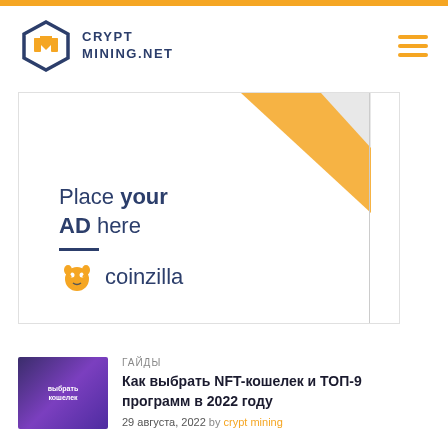[Figure (logo): CryptMining.net logo with hexagonal icon and text]
[Figure (illustration): Coinzilla advertisement banner: Place your AD here with coinzilla branding]
[Figure (illustration): Orange scroll-to-top button with upward arrow]
ГАЙДЫ
Как выбрать NFT-кошелек и ТОП-9 программ в 2022 году
29 августа, 2022 by crypt mining